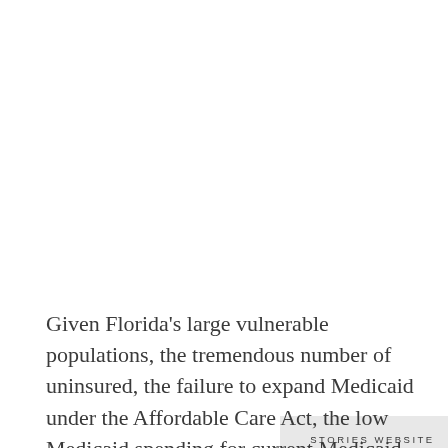[Figure (other): Button or call-to-action element labeled STORIES WEBSITE on a light gray background]
Given Florida’s large vulnerable populations, the tremendous number of uninsured, the failure to expand Medicaid under the Affordable Care Act, the low Medicaid spending for current Medicaid enrollees (47th in the nation), and recent harmful cuts to the state’s Medicaid program, it has…